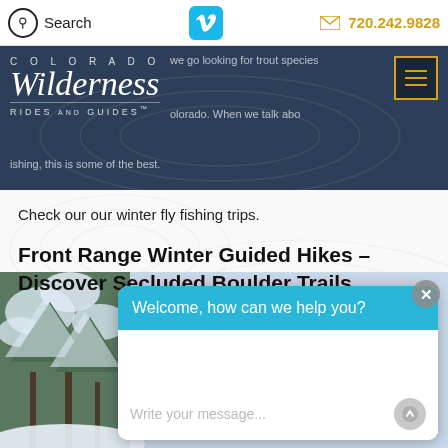Search | [Vimeo] | [email] 720.242.9828
[Figure (screenshot): Colorado Wilderness Rides and Guides website header banner with logo overlaid on dark blue background, text about trout species and Colorado fly fishing visible around the logo. Hamburger menu button at top right.]
Check our our winter fly fishing trips.
Front Range Winter Guided Hikes – Discover Secluded Boulder Trails
[Figure (screenshot): Winter forest photo with snow-covered pine trees at left, overlaid with a chat widget showing 'Welcome, how can we help you?' header in teal/cyan and a 'Write your message...' input field below with a send button. A close X button appears at top right of the chat overlay.]